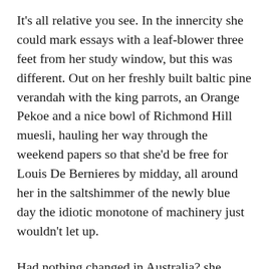It's all relative you see. In the innercity she could mark essays with a leaf-blower three feet from her study window, but this was different. Out on her freshly built baltic pine verandah with the king parrots, an Orange Pekoe and a nice bowl of Richmond Hill muesli, hauling her way through the weekend papers so that she'd be free for Louis De Bernieres by midday, all around her in the saltshimmer of the newly blue day the idiotic monotone of machinery just wouldn't let up.
Had nothing changed in Australia? she wondered. Was everyone still vainly trying to beat nature back with their fervent implements of fear? Why the hell couldn't people just relax and let the wild things grow. She was new in the area but quite obviously she already had an affinity with the